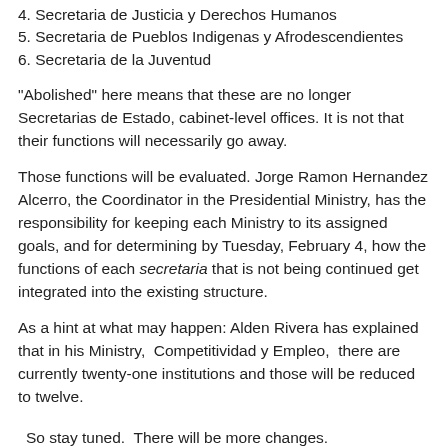4. Secretaria de Justicia y Derechos Humanos
5. Secretaria de Pueblos Indigenas y Afrodescendientes
6. Secretaria de la Juventud
"Abolished" here means that these are no longer Secretarias de Estado, cabinet-level offices. It is not that their functions will necessarily go away.
Those functions will be evaluated. Jorge Ramon Hernandez Alcerro, the Coordinator in the Presidential Ministry, has the responsibility for keeping each Ministry to its assigned goals, and for determining by Tuesday, February 4, how the functions of each secretaria that is not being continued get integrated into the existing structure.
As a hint at what may happen: Alden Rivera has explained that in his Ministry, Competitividad y Empleo, there are currently twenty-one institutions and those will be reduced to twelve.
So stay tuned. There will be more changes.